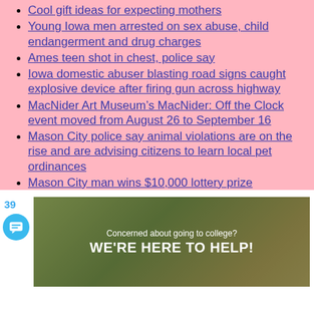Cool gift ideas for expecting mothers
Young Iowa men arrested on sex abuse, child endangerment and drug charges
Ames teen shot in chest, police say
Iowa domestic abuser blasting road signs caught explosive device after firing gun across highway
MacNider Art Museum’s MacNider: Off the Clock event moved from August 26 to September 16
Mason City police say animal violations are on the rise and are advising citizens to learn local pet ordinances
Mason City man wins $10,000 lottery prize
[Figure (screenshot): Advertisement banner image with text 'Concerned about going to college? WE'RE HERE TO HELP!' overlaid on a nature/outdoor background with a cat wearing a hat. Includes a circular chat button and badge number 39.]